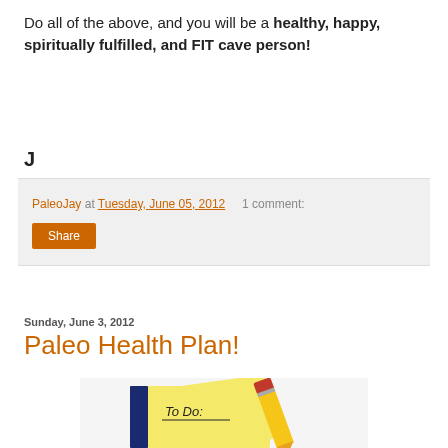Do all of the above, and you will be a healthy, happy, spiritually fulfilled, and FIT cave person!
J
PaleoJay at Tuesday, June 05, 2012   1 comment:
Share
Sunday, June 3, 2012
Paleo Health Plan!
[Figure (photo): A yellow notepad with 'To Do:' written on it and a yellow pencil with red eraser resting on top, partially cropped at the bottom of the page.]